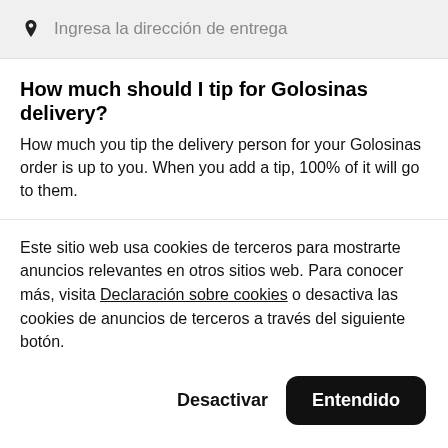Ingresa la dirección de entrega
How much should I tip for Golosinas delivery?
How much you tip the delivery person for your Golosinas order is up to you. When you add a tip, 100% of it will go to them.
Este sitio web usa cookies de terceros para mostrarte anuncios relevantes en otros sitios web. Para conocer más, visita Declaración sobre cookies o desactiva las cookies de anuncios de terceros a través del siguiente botón.
Desactivar   Entendido